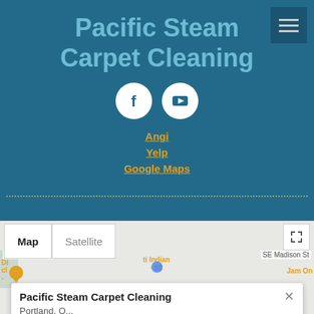Pacific Steam Carpet Cleaning
[Figure (logo): Facebook and YouTube social media icon buttons (white circles with icons on teal background)]
Angi
Yelp
Google Maps
[Figure (map): Google Maps embed showing Pacific Steam Carpet Cleaning location in Portland, OR, with Map/Satellite tab controls and a popup card showing the business name]